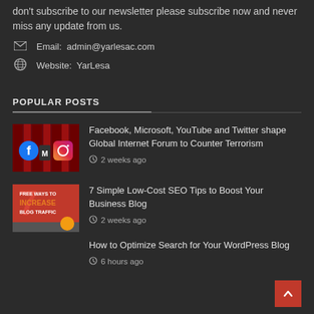don't subscribe to our newsletter please subscribe now and never miss any update from us.
Email: admin@yarlesac.com
Website: YarLesa
POPULAR POSTS
Facebook, Microsoft, YouTube and Twitter shape Global Internet Forum to Counter Terrorism — 2 weeks ago
7 Simple Low-Cost SEO Tips to Boost Your Business Blog — 2 weeks ago
How to Optimize Search for Your WordPress Blog — 6 hours ago